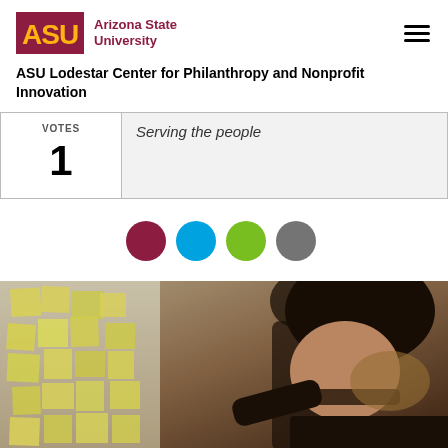ASU Arizona State University
ASU Lodestar Center for Philanthropy and Nonprofit Innovation
| VOTES |  |
| --- | --- |
| 1 | Serving the people |
[Figure (infographic): Four colored circles (dots): dark red/maroon, cyan/blue, green, gray — serving as navigation or category indicators]
[Figure (photo): A woman with glasses and dark hair with blonde highlights leans forward, appearing to work on a wall covered with yellow sticky notes. A dark-clothed figure is visible in the background.]